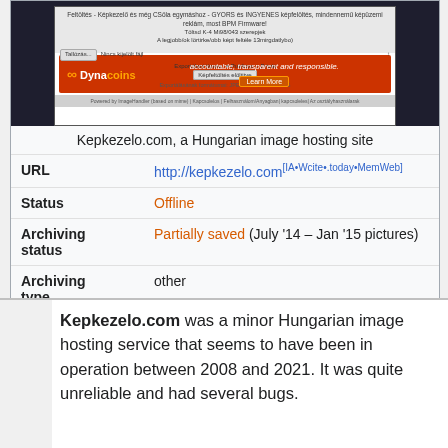[Figure (screenshot): Screenshot of Kepkezelo.com, a Hungarian image hosting website, showing its upload interface and a Dynacoins advertisement banner]
Kepkezelo.com, a Hungarian image hosting site
| Field | Value |
| --- | --- |
| URL | http://kepkezelo.com [IA•Wcite•.today•MemWeb] |
| Status | Offline |
| Archiving status | Partially saved (July '14 – Jan '15 pictures) |
| Archiving type | other |
| IRC channel | #archiveteam-bs (on hackint) |
| Project lead | user:bzc6p |
| Data? | kepkezelo_com_images_201407__201501 |
Kepkezelo.com was a minor Hungarian image hosting service that seems to have been in operation between 2008 and 2021. It was quite unreliable and had several bugs.